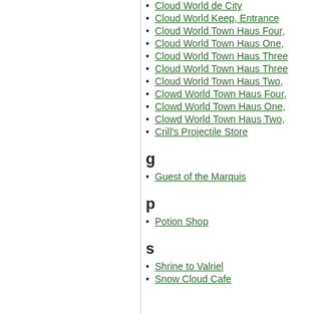Cloud World de City
Cloud World Keep, Entrance
Cloud World Town Haus Four,
Cloud World Town Haus One,
Cloud World Town Haus Three
Cloud World Town Haus Three
Cloud World Town Haus Two,
Clowd World Town Haus Four,
Clowd World Town Haus One,
Clowd World Town Haus Two,
Crill's Projectile Store
g
Guest of the Marquis
p
Potion Shop
s
Shrine to Valriel
Snow Cloud Cafe